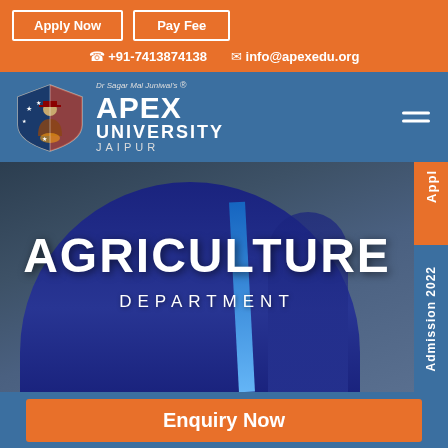Apply Now | Pay Fee | +91-7413874138 | info@apexedu.org
[Figure (logo): Apex University Jaipur logo with shield emblem and Dr Sagar Mal Juniwal's branding]
[Figure (photo): Hero background photo of a person in a dark blue graduation jacket, overlaid with AGRICULTURE DEPARTMENT text and a vertical orange/blue Admission 2022 tab on the right]
AGRICULTURE
DEPARTMENT
Enquiry Now